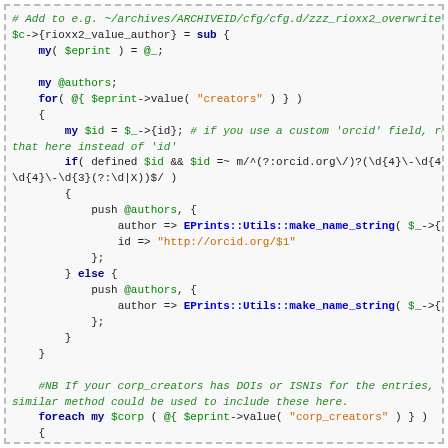[Figure (screenshot): Code snippet in Perl showing rioxx2_value_author subroutine with syntax highlighting. Green for comments, dark green/blue for keywords, orange for strings, bold blue for EPrints::Utils calls. Dashed border surrounds the code block on a light grey background.]